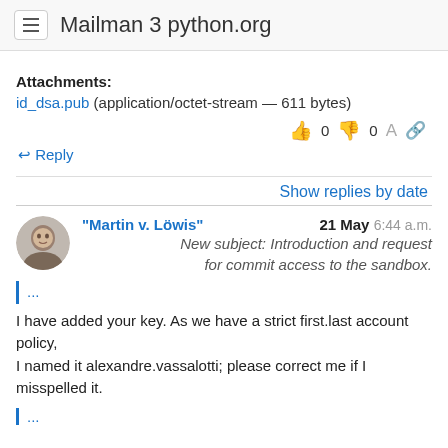Mailman 3 python.org
Attachments:
id_dsa.pub (application/octet-stream — 611 bytes)
Reply
Show replies by date
"Martin v. Löwis"  21 May 6:44 a.m.
New subject: Introduction and request for commit access to the sandbox.
...
I have added your key. As we have a strict first.last account policy, I named it alexandre.vassalotti; please correct me if I misspelled it.
...